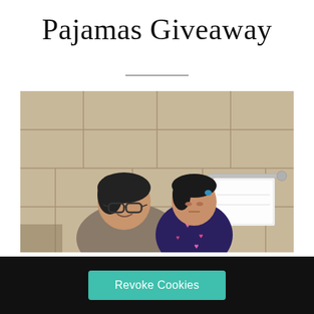Pajamas Giveaway
[Figure (photo): A woman wearing glasses and a child in dark pajamas with heart pattern, posing together in a bathroom with beige tiles and a white towel on a towel rack.]
Revoke Cookies